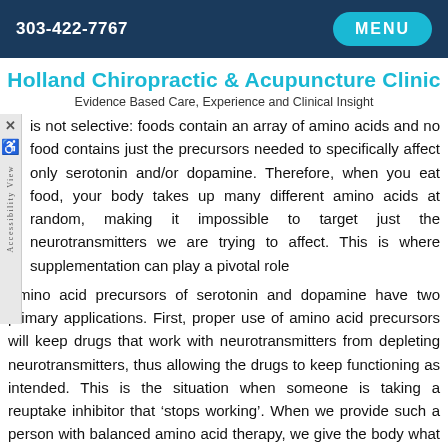303-422-7767   MENU
Holland Chiropractic & Acupuncture Clinic
Evidence Based Care, Experience and Clinical Insight
is not selective: foods contain an array of amino acids and no food contains just the precursors needed to specifically affect only serotonin and/or dopamine. Therefore, when you eat food, your body takes up many different amino acids at random, making it impossible to target just the neurotransmitters we are trying to affect. This is where supplementation can play a pivotal role
Amino acid precursors of serotonin and dopamine have two primary applications. First, proper use of amino acid precursors will keep drugs that work with neurotransmitters from depleting neurotransmitters, thus allowing the drugs to keep functioning as intended. This is the situation when someone is taking a reuptake inhibitor that ‘stops working’. When we provide such a person with balanced amino acid therapy, we give the body what it needs to make the necessary neurotransmitters, which increases neurotransmitter levels. Drugs that work by shuffling around neurotransmitters (such as SSRI, SNRI and other medications) have more neurotransmitter to work